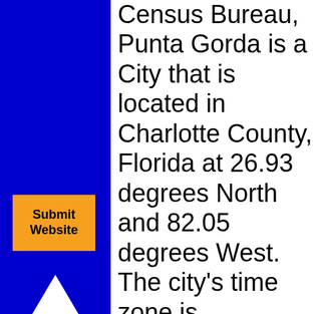Census Bureau, Punta Gorda is a City that is located in Charlotte County, Florida at 26.93 degrees North and 82.05 degrees West. The city's time zone is America/New York, and the city's primary telephone area code is 941. The land area of Punta Gorda is about 15.02 square miles, whereas the water area of the city is about 6.14 square miles. Charlotte County square miles, so the city occupi
[Figure (other): Orange 'Submit Website' button on blue sidebar]
[Figure (other): White upward-pointing triangle arrow on blue sidebar]
[Figure (other): White downward-pointing triangle arrow on blue sidebar]